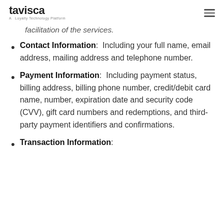tavisca — A Loyalty Technology Platform
facilitation of the services.
Contact Information: Including your full name, email address, mailing address and telephone number.
Payment Information: Including payment status, billing address, billing phone number, credit/debit card name, number, expiration date and security code (CVV), gift card numbers and redemptions, and third-party payment identifiers and confirmations.
Transaction Information: